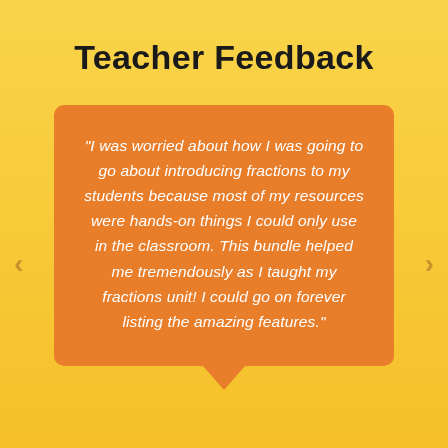Teacher Feedback
"I was worried about how I was going to go about introducing fractions to my students because most of my resources were hands-on things I could only use in the classroom. This bundle helped me tremendously as I taught my fractions unit! I could go on forever listing the amazing features."